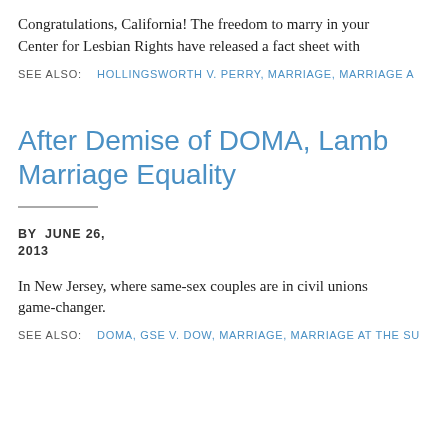Congratulations, California! The freedom to marry in your Center for Lesbian Rights have released a fact sheet with
SEE ALSO:    HOLLINGSWORTH V. PERRY, MARRIAGE, MARRIAGE A
After Demise of DOMA, Lamb Marriage Equality
BY  JUNE 26, 2013
In New Jersey, where same-sex couples are in civil unions game-changer.
SEE ALSO:    DOMA, GSE V. DOW, MARRIAGE, MARRIAGE AT THE SU